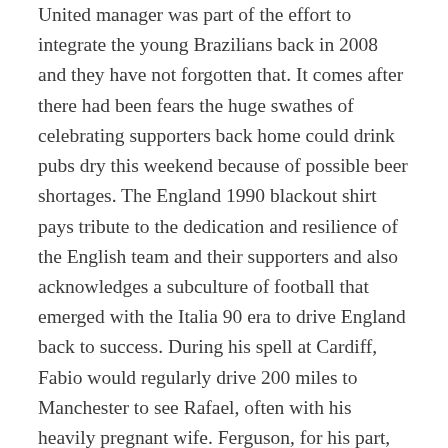United manager was part of the effort to integrate the young Brazilians back in 2008 and they have not forgotten that. It comes after there had been fears the huge swathes of celebrating supporters back home could drink pubs dry this weekend because of possible beer shortages. The England 1990 blackout shirt pays tribute to the dedication and resilience of the English team and their supporters and also acknowledges a subculture of football that emerged with the Italia 90 era to drive England back to success. During his spell at Cardiff, Fabio would regularly drive 200 miles to Manchester to see Rafael, often with his heavily pregnant wife. Ferguson, for his part, loved both boys to a degree that he has penned the foreword to their book and, when Rafael returned to Old Trafford in the Champions League with Istanbul Basaksehir last November, he asked to see him after the final whistle.
This is to guarantee the same old names reach the last 16,